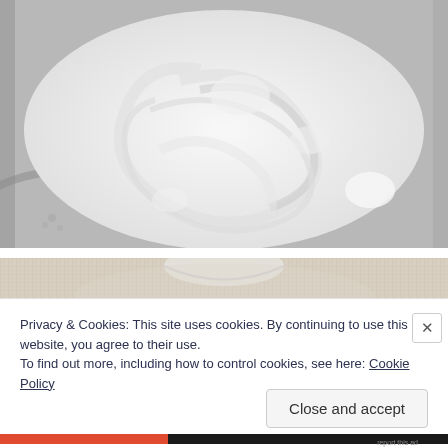[Figure (photo): Close-up photo of fluffy white whipped cream or meringue in a bowl, showing swirled peaks and texture.]
[Figure (photo): Partial view of a burlap or linen fabric texture background with a glass or clear vessel.]
Privacy & Cookies: This site uses cookies. By continuing to use this website, you agree to their use.
To find out more, including how to control cookies, see here: Cookie Policy
Close and accept